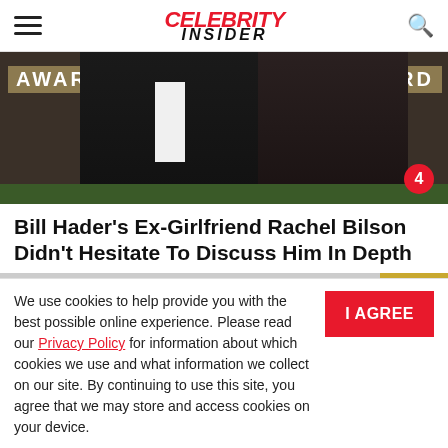Celebrity Insider
[Figure (photo): Two people at an awards ceremony, a man in a dark suit and a woman in a black lace dress, with 'AWARDS' signage in the background. Badge showing number 4 in bottom right corner.]
Bill Hader's Ex-Girlfriend Rachel Bilson Didn't Hesitate To Discuss Him In Depth
[Figure (photo): Partial photo strip showing two dark-haired people, partially obscured by cookie consent overlay. Yellow banner on the right side.]
We use cookies to help provide you with the best possible online experience. Please read our Privacy Policy for information about which cookies we use and what information we collect on our site. By continuing to use this site, you agree that we may store and access cookies on your device.